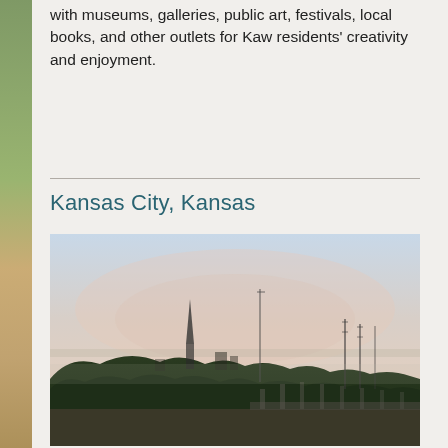with museums, galleries, public art, festivals, local books, and other outlets for Kaw residents' creativity and enjoyment.
Kansas City, Kansas
[Figure (photo): Panoramic dusk/twilight photo of Kansas City, Kansas skyline viewed from across a river or highway. Tree line visible in foreground, church steeple and infrastructure/towers visible against a pale pink and blue sky.]